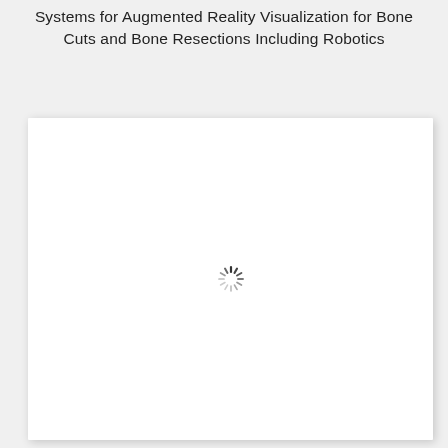Systems for Augmented Reality Visualization for Bone Cuts and Bone Resections Including Robotics
[Figure (other): A white card/panel with a loading spinner (circular dashed spinner icon) centered within it, indicating content is loading.]